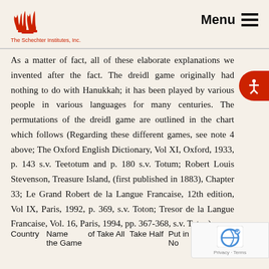The Schechter Institutes, Inc. | Menu
As a matter of fact, all of these elaborate explanations were invented after the fact. The dreidl game originally had nothing to do with Hanukkah; it has been played by various people in various languages for many centuries. The permutations of the dreidl game are outlined in the chart which follows (Regarding these different games, see note 4 above; The Oxford English Dictionary, Vol XI, Oxford, 1933, p. 143 s.v. Teetotum and p. 180 s.v. Totum; Robert Louis Stevenson, Treasure Island, (first published in 1883), Chapter 33; Le Grand Robert de la Langue Francaise, 12th edition, Vol IX, Paris, 1992, p. 369, s.v. Toton; Tresor de la Langue Francaise, Vol. 16, Paris, 1994, pp. 367-368, s.v. Toton).:
| Country | Name of the Game | Take All | Take Half | Put in | More Do Nothing |
| --- | --- | --- | --- | --- | --- |